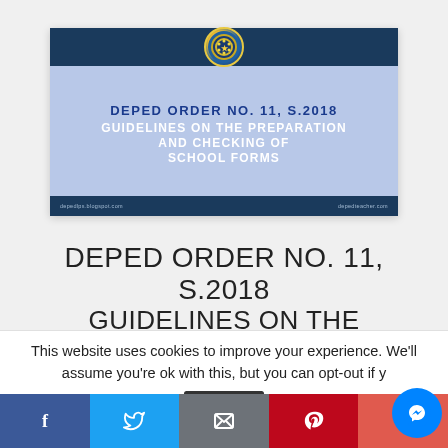[Figure (infographic): DepEd Order No. 11, S.2018 banner with Philippine government seal, dark navy header, light blue body with title text, and dark footer with website URLs depedlps.blogspot.com and depedteacher.com]
DEPED ORDER NO. 11, S.2018 GUIDELINES ON THE
This website uses cookies to improve your experience. We'll assume you're ok with this, but you can opt-out if y
[Figure (infographic): Social media sharing bar with Facebook, Twitter, Email/Share, Pinterest, and Plus buttons, plus a Messenger chat button overlay]